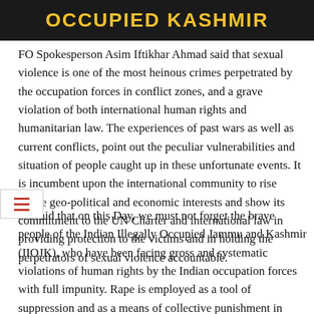[Figure (photo): Dark banner image with yellow bold text reading 'OCCUPIED KASHMIR' on a dark background with a faint military/conflict scene]
FO Spokesperson Asim Iftikhar Ahmad said that sexual violence is one of the most heinous crimes perpetrated by the occupation forces in conflict zones, and a grave violation of both international human rights and humanitarian law. The experiences of past wars as well as current conflicts, point out the peculiar vulnerabilities and situation of people caught up in these unfortunate events. It is incumbent upon the international community to rise above geo-political and economic interests and show its commitment to the UN Charter and international law in providing protection to the victims and in holding the perpetrators of sexual violence accountable.
He said that on this Day, we must not forget the brave people of the Indian Illegally Occupied Jammu and Kashmir (IIOJK), who have been facing gross and systematic violations of human rights by the Indian occupation forces with full impunity. Rape is employed as a tool of suppression and as a means of collective punishment in IIOJK. The women, girls and children of IIOJK have witnessed the most gruesome forms of sexual violence from occupation forces. The